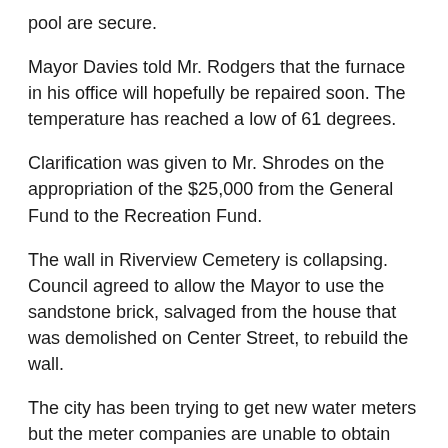pool are secure.
Mayor Davies told Mr. Rodgers that the furnace in his office will hopefully be repaired soon. The temperature has reached a low of 61 degrees.
Clarification was given to Mr. Shrodes on the appropriation of the $25,000 from the General Fund to the Recreation Fund.
The wall in Riverview Cemetery is collapsing. Council agreed to allow the Mayor to use the sandstone brick, salvaged from the house that was demolished on Center Street, to rebuild the wall.
The city has been trying to get new water meters but the meter companies are unable to obtain them. Eastern Ohio Regional Wastewater Authority is now charging customers an additional $11 more for an estimated reading. Mayor